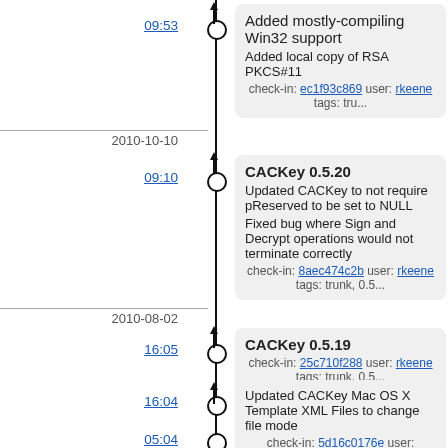09:53
Added mostly-compiling Win32 support
Added local copy of RSA PKCS#11
check-in: ec1f93c869 user: rkeene tags: trunk
2010-10-10
09:10
CACKey 0.5.20
Updated CACKey to not require pReserved to be set to NULL
Fixed bug where Sign and Decrypt operations would not terminate correctly
check-in: 8aec474c2b user: rkeene tags: trunk, 0.5
2010-08-02
16:05
CACKey 0.5.19
check-in: 25c710f288 user: rkeene tags: trunk, 0.5
16:04
Updated CACKey Mac OS X Template XML Files to change file mode
check-in: 5d16c0176e user: kvanals tags: trunk
05:04